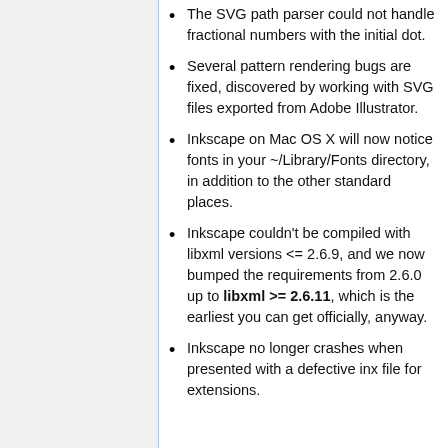The SVG path parser could not handle fractional numbers with the initial dot.
Several pattern rendering bugs are fixed, discovered by working with SVG files exported from Adobe Illustrator.
Inkscape on Mac OS X will now notice fonts in your ~/Library/Fonts directory, in addition to the other standard places.
Inkscape couldn't be compiled with libxml versions <= 2.6.9, and we now bumped the requirements from 2.6.0 up to libxml >= 2.6.11, which is the earliest you can get officially, anyway.
Inkscape no longer crashes when presented with a defective inx file for extensions.